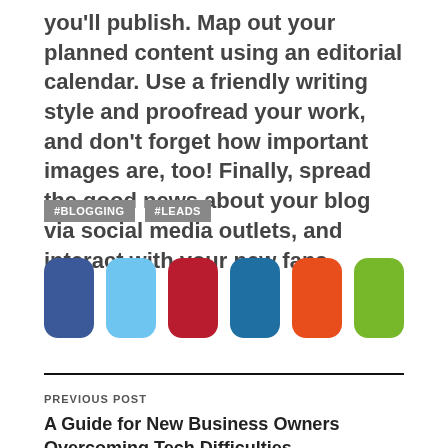you'll publish. Map out your planned content using an editorial calendar. Use a friendly writing style and proofread your work, and don't forget how important images are, too! Finally, spread the good news about your blog via social media outlets, and interact with your new fans.
#BLOGGING  #LEADS
[Figure (infographic): Six rounded square social media share icons in a row: dark blue (Facebook), light blue (Twitter), dark red (Pinterest), teal blue (LinkedIn), orange (RSS/email), green (other).]
PREVIOUS POST
A Guide for New Business Owners Overcoming Tech Difficulties